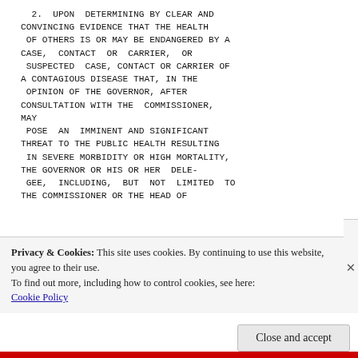2.  UPON  DETERMINING BY CLEAR AND
CONVINCING EVIDENCE THAT THE HEALTH
 OF OTHERS IS OR MAY BE ENDANGERED BY A
CASE,  CONTACT  OR  CARRIER,  OR
 SUSPECTED  CASE, CONTACT OR CARRIER OF
A CONTAGIOUS DISEASE THAT, IN THE
 OPINION OF THE GOVERNOR, AFTER
CONSULTATION WITH THE  COMMISSIONER,
MAY
 POSE  AN  IMMINENT AND SIGNIFICANT
THREAT TO THE PUBLIC HEALTH RESULTING
 IN SEVERE MORBIDITY OR HIGH MORTALITY,
THE GOVERNOR OR HIS OR HER  DELE-
 GEE,  INCLUDING,  BUT  NOT  LIMITED  TO
THE COMMISSIONER OR THE HEAD OF
Privacy & Cookies: This site uses cookies. By continuing to use this website, you agree to their use.
To find out more, including how to control cookies, see here:
Cookie Policy